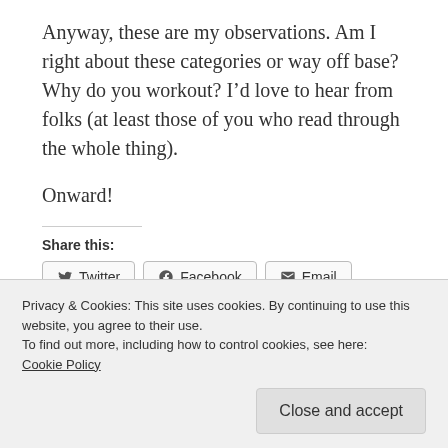Anyway, these are my observations. Am I right about these categories or way off base? Why do you workout? I’d love to hear from folks (at least those of you who read through the whole thing).
Onward!
Share this:
Twitter Facebook Email LinkedIn Print Reddit Tumblr Pocket
Privacy & Cookies: This site uses cookies. By continuing to use this website, you agree to their use.
To find out more, including how to control cookies, see here:
Cookie Policy
Close and accept